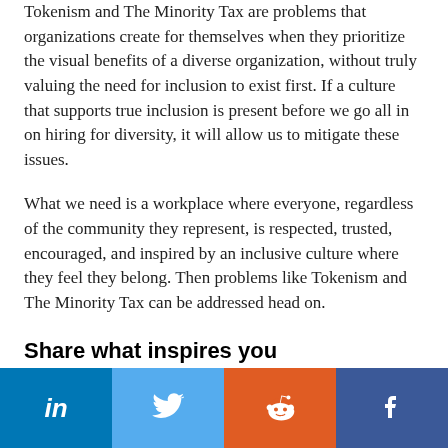Tokenism and The Minority Tax are problems that organizations create for themselves when they prioritize the visual benefits of a diverse organization, without truly valuing the need for inclusion to exist first. If a culture that supports true inclusion is present before we go all in on hiring for diversity, it will allow us to mitigate these issues.
What we need is a workplace where everyone, regardless of the community they represent, is respected, trusted, encouraged, and inspired by an inclusive culture where they feel they belong. Then problems like Tokenism and The Minority Tax can be addressed head on.
Share what inspires you
[Figure (infographic): Social sharing bar with four buttons: LinkedIn (blue), Twitter (light blue), Reddit (orange), Facebook (dark blue)]